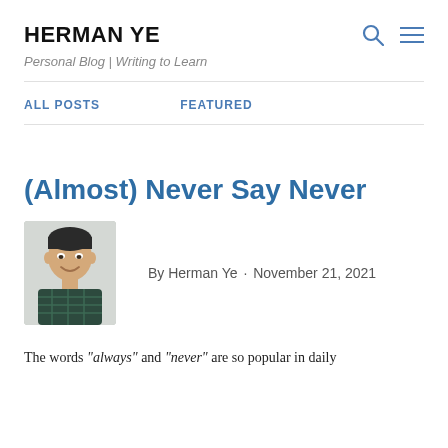HERMAN YE
Personal Blog | Writing to Learn
ALL POSTS    FEATURED
(Almost) Never Say Never
[Figure (photo): Headshot photo of Herman Ye, a young Asian man smiling, wearing a dark plaid shirt, on a light gray background.]
By Herman Ye · November 21, 2021
The words "always" and "never" are so popular in daily